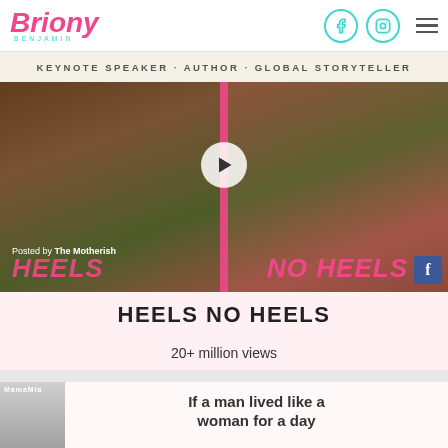Briony Benjamin - KEYNOTE SPEAKER · AUTHOR · GLOBAL STORYTELLER
[Figure (screenshot): Video thumbnail showing women with flowers and balloons, with play button overlay. Text overlay reads: Posted by The Motherish | HEELS | NO HEELS with Facebook icon.]
HEELS NO HEELS
20+ million views
If a man lived like a woman for a day
[Figure (screenshot): Video thumbnail with MamaMia logo and man's face visible]